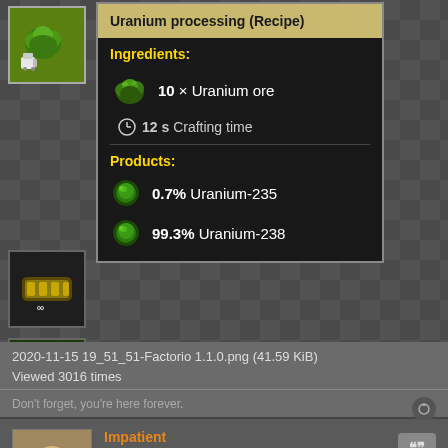[Figure (screenshot): Factorio game screenshot showing a recipe tooltip for Uranium processing. Top-left shows an ore icon with robot. Center tooltip has header 'Uranium processing (Recipe)', Ingredients section showing 10x Uranium ore, 12s Crafting time, and Products section showing 0.7% Uranium-235 and 99.3% Uranium-238. Side icons show various game items.]
2020-11-15 19_51_51-Factorio 1.1.0.png (41.59 KiB)
Viewed 3016 times
Don't forget, you're here forever.
Impatient
Filter Inserter